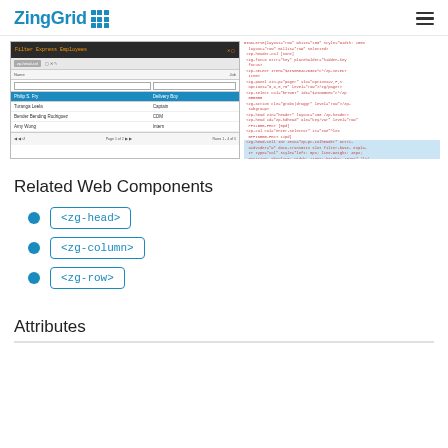ZingGrid [logo]
[Figure (screenshot): Split screenshot: left shows ZingGrid UI table with paging controls and rows of data; right shows corresponding HTML/CSS code panel with syntax highlighted in red/orange on white background]
Related Web Components
<zg-head>
<zg-column>
<zg-row>
Attributes